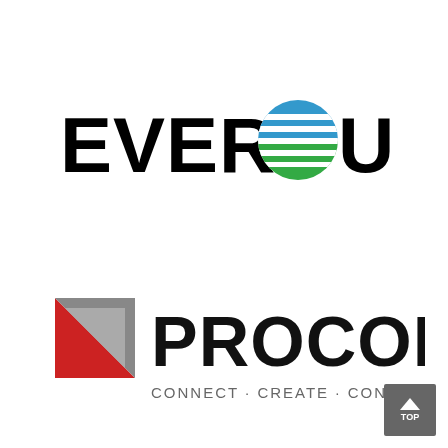[Figure (logo): Eversource logo: bold black text EVERSOURCE with a globe icon replacing the letter O, featuring blue top half with horizontal white stripes and green bottom half with horizontal white stripes]
[Figure (logo): Procon logo: geometric square icon with red lower-left triangle and gray upper-right triangle sections, followed by bold black text PROCON and tagline CONNECT · CREATE · CONSTRUCT in gray below]